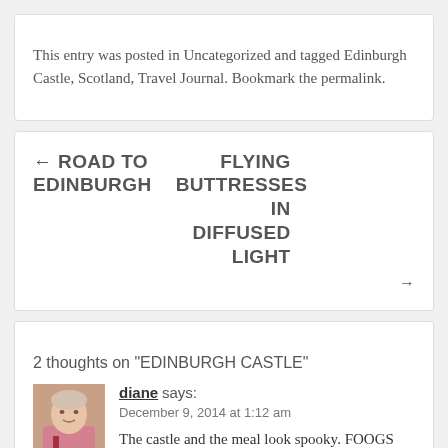This entry was posted in Uncategorized and tagged Edinburgh Castle, Scotland, Travel Journal. Bookmark the permalink.
← ROAD TO EDINBURGH
FLYING BUTTRESSES IN DIFFUSED LIGHT →
2 thoughts on "EDINBURGH CASTLE"
[Figure (photo): Small avatar photo of a woman in a pink top]
diane says: December 9, 2014 at 1:12 am The castle and the meal look spooky. FOOGS Gate what sort of a name is that?